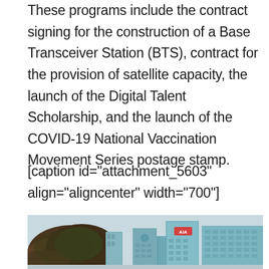These programs include the contract signing for the construction of a Base Transceiver Station (BTS), contract for the provision of satellite capacity, the launch of the Digital Talent Scholarship, and the launch of the COVID-19 National Vaccination Movement Series postage stamp.
[caption id="attachment_5603" align="aligncenter" width="700"]
[Figure (photo): Cityscape photo showing tall modern glass skyscraper buildings including one with AIA signage, with a large tree in the foreground left, set against a light blue-grey sky.]